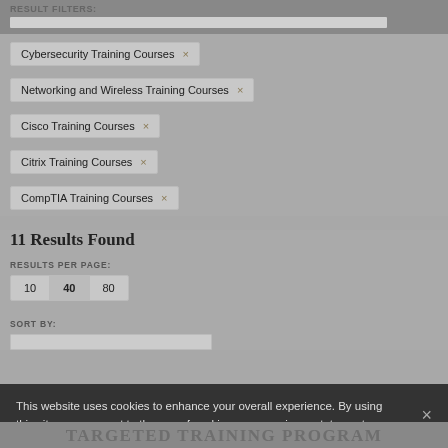RESULT FILTERS:
Cybersecurity Training Courses ×
Networking and Wireless Training Courses ×
Cisco Training Courses ×
Citrix Training Courses ×
CompTIA Training Courses ×
11 Results Found
RESULTS PER PAGE: 10  40  80
SORT BY:
This website uses cookies to enhance your overall experience. By using this site, you consent to the use of cookies per our privacy statement.
TARGETED TRAINING PROGRAM